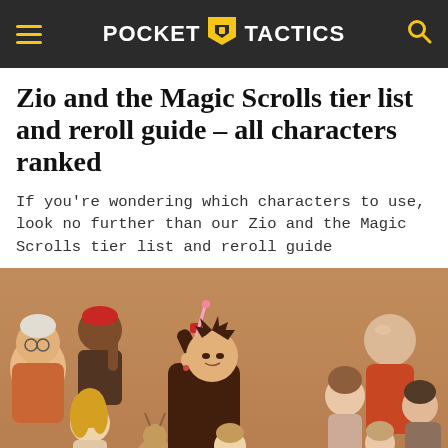POCKET TACTICS
Zio and the Magic Scrolls tier list and reroll guide – all characters ranked
If you're wondering which characters to use, look no further than our Zio and the Magic Scrolls tier list and reroll guide
[Figure (illustration): Illustrated group of anime-style characters from Zio and the Magic Scrolls, featuring a central spiky-haired protagonist holding a scroll/wand, surrounded by various other characters on a warm beige/tan background.]